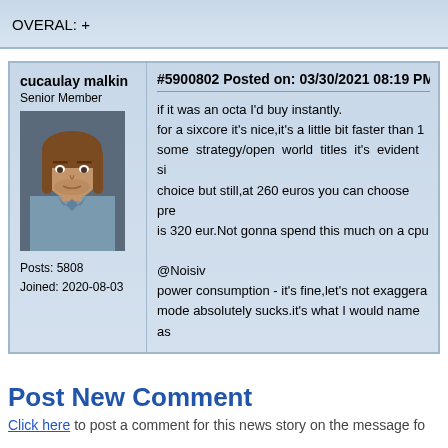OVERAL: +
cucaulay malkin
Senior Member
Posts: 5808
Joined: 2020-08-03
#5900802 Posted on: 03/30/2021 08:19 PM
if it was an octa I'd buy instantly.
for a sixcore it's nice,it's a little bit faster than 1...
some strategy/open world titles it's evident si...
choice but still,at 260 euros you can choose pre...
is 320 eur.Not gonna spend this much on a cpu...
@Noisiv
power consumption - it's fine,let's not exaggera...
mode absolutely sucks.it's what I would name as...
Post New Comment
Click here to post a comment for this news story on the message fo...